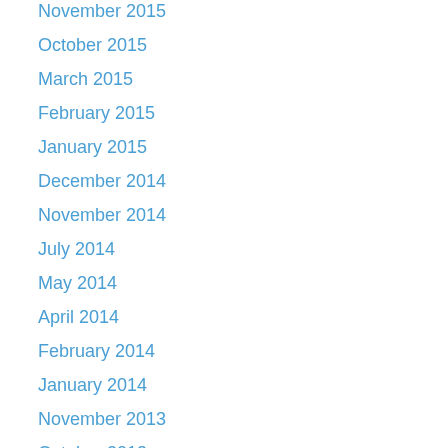November 2015
October 2015
March 2015
February 2015
January 2015
December 2014
November 2014
July 2014
May 2014
April 2014
February 2014
January 2014
November 2013
October 2013
August 2013
July 2013
June 2013
May 2013
April 2013
February 2013